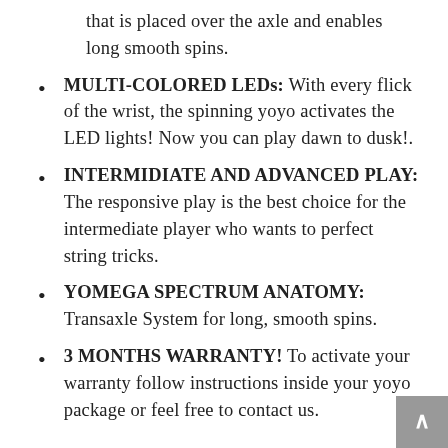that is placed over the axle and enables long smooth spins.
MULTI-COLORED LEDs: With every flick of the wrist, the spinning yoyo activates the LED lights! Now you can play dawn to dusk!.
INTERMIDIATE AND ADVANCED PLAY: The responsive play is the best choice for the intermediate player who wants to perfect string tricks.
YOMEGA SPECTRUM ANATOMY: Transaxle System for long, smooth spins.
3 MONTHS WARRANTY! To activate your warranty follow instructions inside your yoyo package or feel free to contact us.